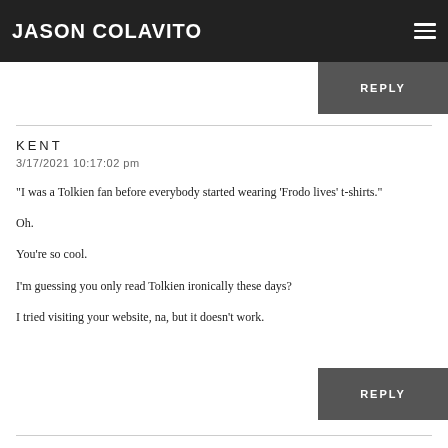JASON COLAVITO
into the... But on the whole I will stick to my decision to stay out of the se...
REPLY
KENT
3/17/2021 10:17:02 pm
"I was a Tolkien fan before everybody started wearing 'Frodo lives' t-shirts."
Oh.
You're so cool.
I'm guessing you only read Tolkien ironically these days?
I tried visiting your website, na, but it doesn't work.
REPLY